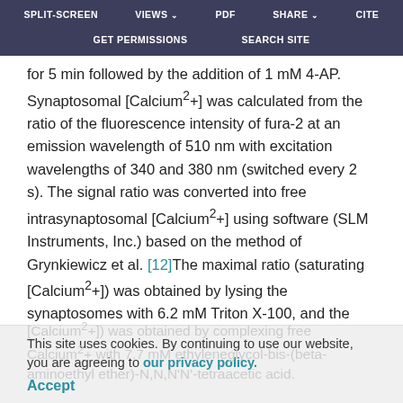SPLIT-SCREEN  VIEWS  PDF  SHARE  CITE  GET PERMISSIONS  SEARCH SITE
for 5 min followed by the addition of 1 mM 4-AP. Synaptosomal [Calcium²+] was calculated from the ratio of the fluorescence intensity of fura-2 at an emission wavelength of 510 nm with excitation wavelengths of 340 and 380 nm (switched every 2 s). The signal ratio was converted into free intrasynaptosomal [Calcium²+] using software (SLM Instruments, Inc.) based on the method of Grynkiewicz et al. [12]The maximal ratio (saturating [Calcium²+]) was obtained by lysing the synaptosomes with 6.2 mM Triton X-100, and the minimal ratio (0 [Calcium²+]) was obtained by complexing free Calcium²+ with 7.7 mM ethyleneglycol-bis-(beta-aminoethyl ether)-N,N,N'N'-tetraacetic acid.
This site uses cookies. By continuing to use our website, you are agreeing to our privacy policy. Accept